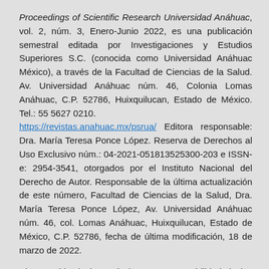Proceedings of Scientific Research Universidad Anáhuac, vol. 2, núm. 3, Enero-Junio 2022, es una publicación semestral editada por Investigaciones y Estudios Superiores S.C. (conocida como Universidad Anáhuac México), a través de la Facultad de Ciencias de la Salud. Av. Universidad Anáhuac núm. 46, Colonia Lomas Anáhuac, C.P. 52786, Huixquilucan, Estado de México. Tel.: 55 5627 0210. https://revistas.anahuac.mx/psrua/ Editora responsable: Dra. María Teresa Ponce López. Reserva de Derechos al Uso Exclusivo núm.: 04-2021-051813525300-203 e ISSN-e: 2954-3541, otorgados por el Instituto Nacional del Derecho de Autor. Responsable de la última actualización de este número, Facultad de Ciencias de la Salud, Dra. María Teresa Ponce López, Av. Universidad Anáhuac núm. 46, col. Lomas Anáhuac, Huixquilucan, Estado de México, C.P. 52786, fecha de última modificación, 18 de marzo de 2022.
El contenido de los artículos es responsabilidad de los autores y no refleja el punto de vista del Editor ni de la Universidad Anáhuac México.